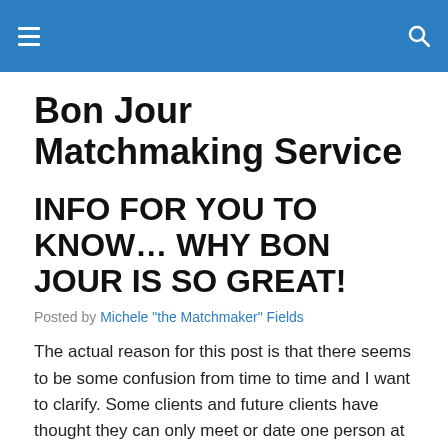Bon Jour Matchmaking Service [navigation header]
Bon Jour Matchmaking Service
INFO FOR YOU TO KNOW... WHY BON JOUR IS SO GREAT!
Posted by Michele "the Matchmaker" Fields
The actual reason for this post is that there seems to be some confusion from time to time and I want to clarify. Some clients and future clients have thought they can only meet or date one person at a time.  NOT TRUE. That is TOTALLY up to each individual client.  If you are